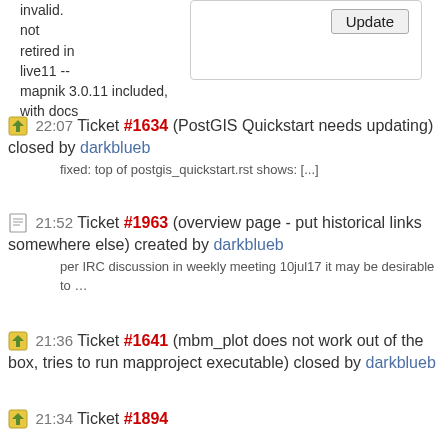invalid. not retired in live11 -- mapnik 3.0.11 included, with docs
22:07 Ticket #1634 (PostGIS Quickstart needs updating) closed by darkblueb
fixed: top of postgis_quickstart.rst shows: [...]
21:52 Ticket #1963 (overview page - put historical links somewhere else) created by darkblueb
per IRC discussion in weekly meeting 10jul17 it may be desirable to …
21:36 Ticket #1641 (mbm_plot does not work out of the box, tries to run mapproject executable) closed by darkblueb
wontfix: mb-system is retired from Live11
21:34 Ticket #1894 (GMT quickstart doesn't follow quickstart format) closed by darkblueb
fixed: fixed in commit 041d8eb47a047ca2ac57b24a72f731e2bd65a7f3 and